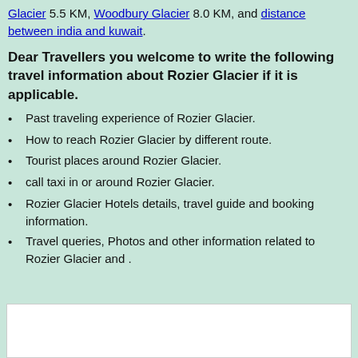Glacier 5.5 KM, Woodbury Glacier 8.0 KM, and distance between india and kuwait.
Dear Travellers you welcome to write the following travel information about Rozier Glacier if it is applicable.
Past traveling experience of Rozier Glacier.
How to reach Rozier Glacier by different route.
Tourist places around Rozier Glacier.
call taxi in or around Rozier Glacier.
Rozier Glacier Hotels details, travel guide and booking information.
Travel queries, Photos and other information related to Rozier Glacier and .
[Figure (other): White input/text box area at the bottom of the page]